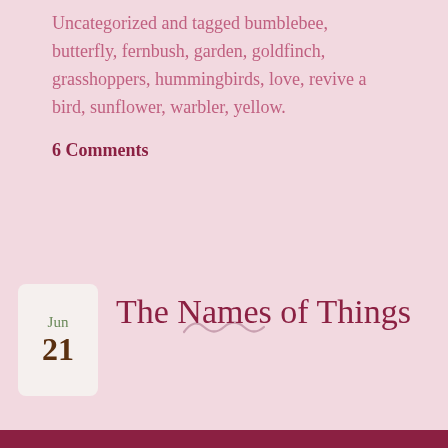Uncategorized and tagged bumblebee, butterfly, fernbush, garden, goldfinch, grasshoppers, hummingbirds, love, revive a bird, sunflower, warbler, yellow.
6 Comments
[Figure (illustration): Decorative squiggle/tilde divider in light pink/mauve color]
Jun
21
The Names of Things